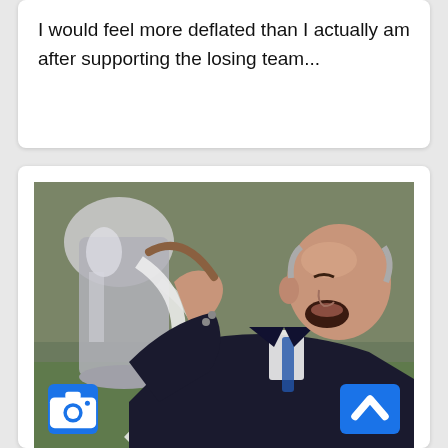I would feel more deflated than I actually am after supporting the losing team...
[Figure (photo): A bald man in a dark suit celebrating with a large silver trophy cup, mouth open in celebration, with a stadium crowd visible in the background. Blue camera icon button visible in bottom-left corner and blue up-arrow button in bottom-right corner of the image.]